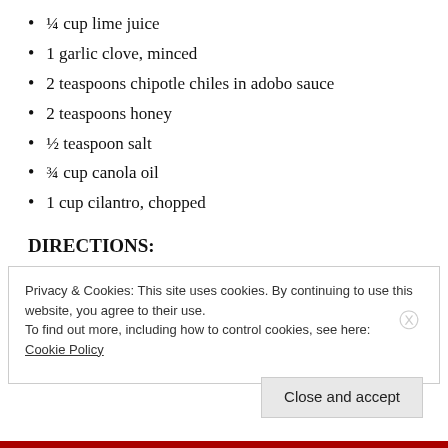¼ cup lime juice
1 garlic clove, minced
2 teaspoons chipotle chiles in adobo sauce
2 teaspoons honey
½ teaspoon salt
¾ cup canola oil
1 cup cilantro, chopped
DIRECTIONS:
1. Puree chipotle chilies in food processor.
Privacy & Cookies: This site uses cookies. By continuing to use this website, you agree to their use.
To find out more, including how to control cookies, see here: Cookie Policy